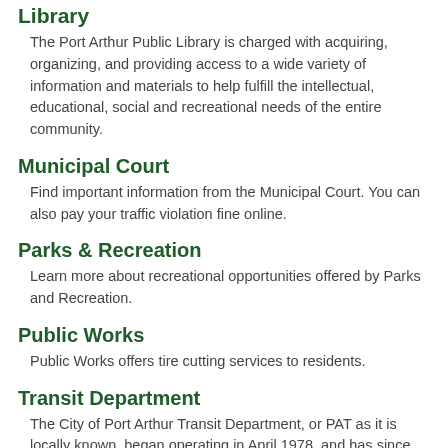Library
The Port Arthur Public Library is charged with acquiring, organizing, and providing access to a wide variety of information and materials to help fulfill the intellectual, educational, social and recreational needs of the entire community.
Municipal Court
Find important information from the Municipal Court. You can also pay your traffic violation fine online.
Parks & Recreation
Learn more about recreational opportunities offered by Parks and Recreation.
Public Works
Public Works offers tire cutting services to residents.
Transit Department
The City of Port Arthur Transit Department, or PAT as it is locally known, began operating in April 1978, and has since provided service to the citizens of Port Arthur located in Jefferson County.